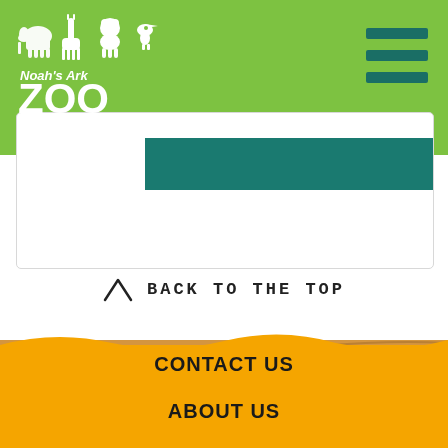[Figure (logo): Noah's Ark Zoo Farm logo with animal silhouettes on green background]
[Figure (other): Hamburger menu icon with three dark teal horizontal bars]
[Figure (other): White card with teal bar inside, partially overlapping the green header]
[Figure (photo): Wood texture horizontal band]
BACK TO THE TOP
CONTACT US
ABOUT US